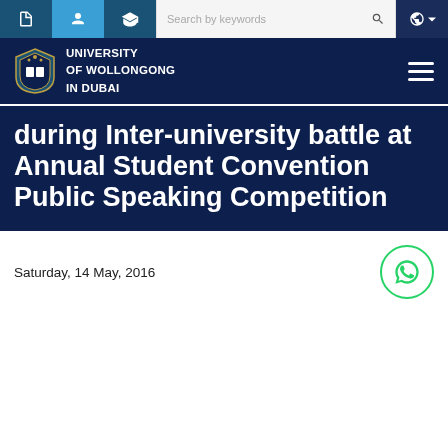[Figure (screenshot): University of Wollongong in Dubai website navigation bar with icons and search field]
[Figure (logo): University of Wollongong in Dubai logo and name in dark navy header with hamburger menu]
during Inter-university battle at Annual Student Convention Public Speaking Competition
Saturday, 14 May, 2016